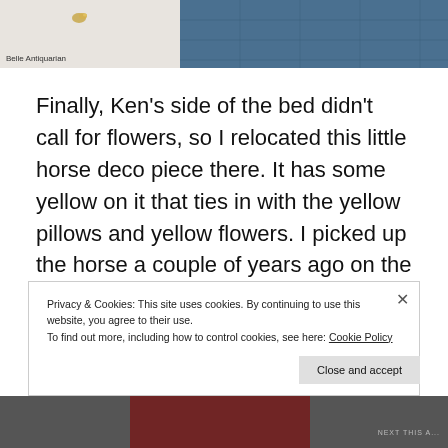[Figure (photo): Top portion showing two images side by side: left is a light beige/cream colored image with a small bird icon and 'Belle Antiquarian' label, right is a blue quilted fabric image]
Finally, Ken's side of the bed didn't call for flowers, so I relocated this little horse deco piece there. It has some yellow on it that ties in with the yellow pillows and yellow flowers. I picked up the horse a couple of years ago on the clearance rack at TJ Maxx.
Privacy & Cookies: This site uses cookies. By continuing to use this website, you agree to their use.
To find out more, including how to control cookies, see here: Cookie Policy
Close and accept